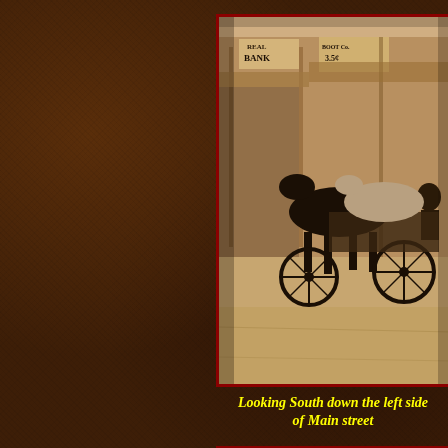[Figure (photo): Sepia-toned historical photograph looking south down the left side of Main Street, showing horse-drawn carriages, a bank sign, and storefronts in an old western town setting.]
Looking South down the left side of Main street
[Figure (photo): Sepia-toned image of a newspaper or advertisement clipping showing 'NEW VESPE...' (hotel advertisement), 'J. F. SCHNELL, P...' and 'RATES $2.00 PER DAY' with an illustration of a building below.]